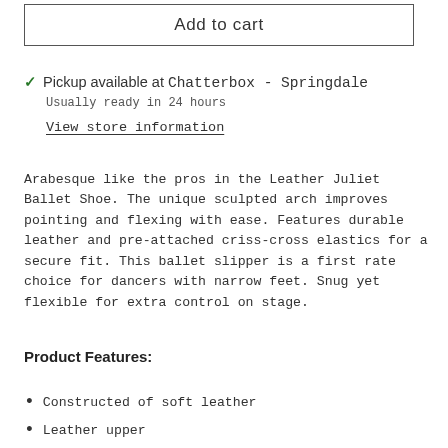Add to cart
✓ Pickup available at Chatterbox - Springdale
Usually ready in 24 hours
View store information
Arabesque like the pros in the Leather Juliet Ballet Shoe. The unique sculpted arch improves pointing and flexing with ease. Features durable leather and pre-attached criss-cross elastics for a secure fit. This ballet slipper is a first rate choice for dancers with narrow feet. Snug yet flexible for extra control on stage.
Product Features:
Constructed of soft leather
Leather upper